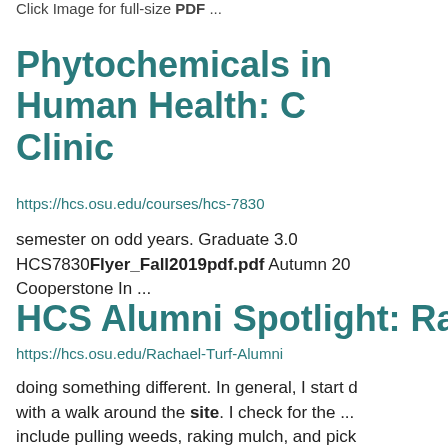Click Image for full-size PDF ...
Phytochemicals in Human Health: C Clinic
https://hcs.osu.edu/courses/hcs-7830
semester on odd years. Graduate 3.0 HCS7830Flyer_Fall2019pdf.pdf Autumn 20 Cooperstone In ...
HCS Alumni Spotlight: Rachael Clind
https://hcs.osu.edu/Rachael-Turf-Alumni
doing something different. In general, I start d with a walk around the site. I check for the ... include pulling weeds, raking mulch, and pick We also develop a monthly agenda ... me the